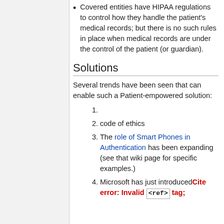Covered entities have HIPAA regulations to control how they handle the patient's medical records; but there is no such rules in place when medical records are under the control of the patient (or guardian).
Solutions
Several trends have been seen that can enable such a Patient-empowered solution:
1.
2. code of ethics
3. The role of Smart Phones in Authentication has been expanding (see that wiki page for specific examples.)
4. Microsoft has just introduced Cite error: Invalid <ref> tag;